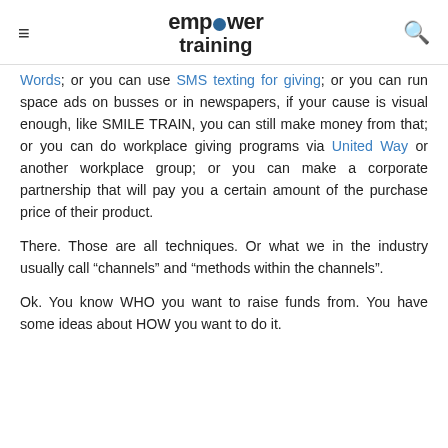empower training
Words; or you can use SMS texting for giving; or you can run space ads on busses or in newspapers, if your cause is visual enough, like SMILE TRAIN, you can still make money from that; or you can do workplace giving programs via United Way or another workplace group; or you can make a corporate partnership that will pay you a certain amount of the purchase price of their product.
There. Those are all techniques. Or what we in the industry usually call “channels” and “methods within the channels”.
Ok. You know WHO you want to raise funds from. You have some ideas about HOW you want to do it.